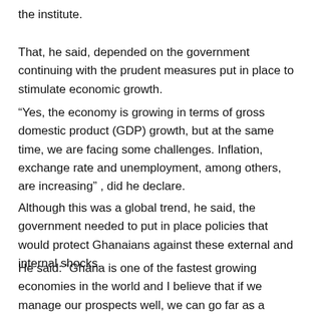the institute.
That, he said, depended on the government continuing with the prudent measures put in place to stimulate economic growth.
“Yes, the economy is growing in terms of gross domestic product (GDP) growth, but at the same time, we are facing some challenges. Inflation, exchange rate and unemployment, among others, are increasing” , did he declare.
Although this was a global trend, he said, the government needed to put in place policies that would protect Ghanaians against these external and internal shocks.
He said: “Ghana is one of the fastest growing economies in the world and I believe that if we manage our prospects well, we can go far as a nation.”
Professor Quartey was speaking at a stakeholder engagement